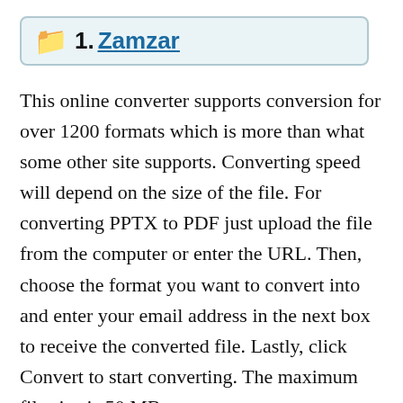1. Zamzar
This online converter supports conversion for over 1200 formats which is more than what some other site supports. Converting speed will depend on the size of the file. For converting PPTX to PDF just upload the file from the computer or enter the URL. Then, choose the format you want to convert into and enter your email address in the next box to receive the converted file. Lastly, click Convert to start converting. The maximum file size is 50 MB.
See Also: